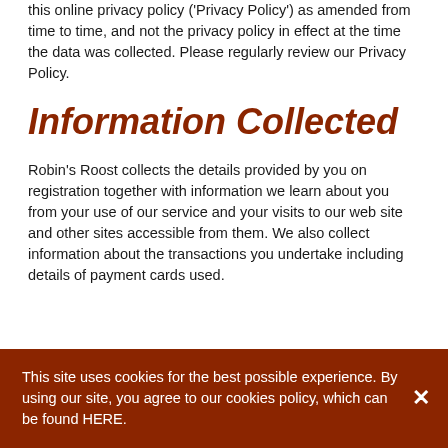this online privacy policy ('Privacy Policy') as amended from time to time, and not the privacy policy in effect at the time the data was collected. Please regularly review our Privacy Policy.
Information Collected
Robin's Roost collects the details provided by you on registration together with information we learn about you from your use of our service and your visits to our web site and other sites accessible from them. We also collect information about the transactions you undertake including details of payment cards used.
We may collect additional information in connection with your participation in any promotions or competitions offered by us
This site uses cookies for the best possible experience. By using our site, you agree to our cookies policy, which can be found HERE.